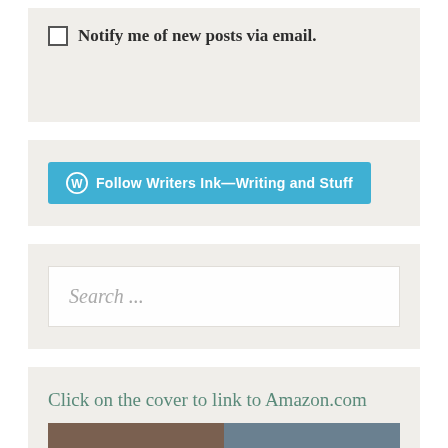Notify me of new posts via email.
[Figure (other): Follow Writers Ink—Writing and Stuff WordPress follow button]
Search ...
Click on the cover to link to Amazon.com
[Figure (photo): Bottom partial image strip showing book covers]